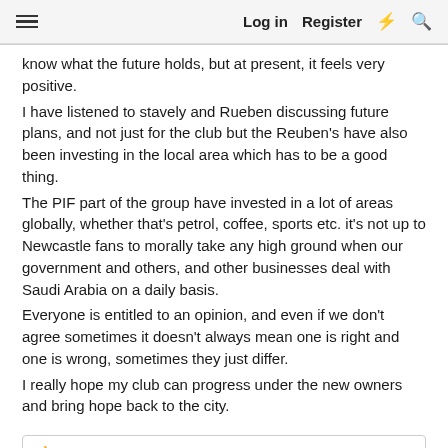≡  Log in  Register  ⚡  🔍
know what the future holds, but at present, it feels very positive.
I have listened to stavely and Rueben discussing future plans, and not just for the club but the Reuben's have also been investing in the local area which has to be a good thing.
The PIF part of the group have invested in a lot of areas globally, whether that's petrol, coffee, sports etc. it's not up to Newcastle fans to morally take any high ground when our government and others, and other businesses deal with Saudi Arabia on a daily basis.
Everyone is entitled to an opinion, and even if we don't agree sometimes it doesn't always mean one is right and one is wrong, sometimes they just differ.
I really hope my club can progress under the new owners and bring hope back to the city.
👍 Piece, Lord Tyrion, Tashyboy and 1 other person
Oct 7, 2021  #16,137
Fade and Die
Medal Winner